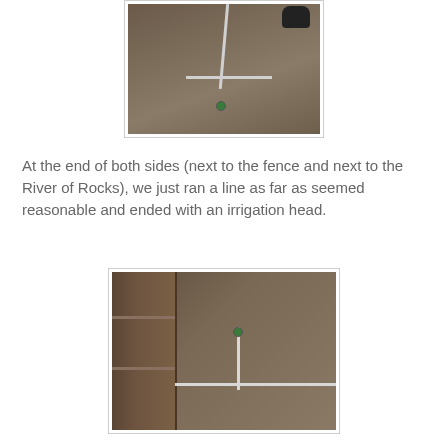[Figure (photo): Aerial/overhead view of garden dirt with irrigation pipe lines and a sprinkler head, and an animal at the top edge]
At the end of both sides (next to the fence and next to the River of Rocks), we just ran a line as far as seemed reasonable and ended with an irrigation head.
[Figure (photo): Ground-level view showing a wooden fence on the left, bare dirt ground, and irrigation pipe lines meeting at a sprinkler head]